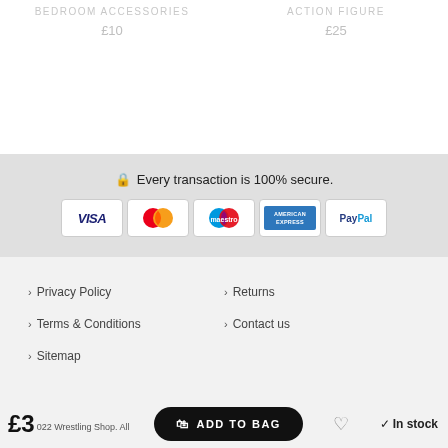BEDROOM ACCESSORIES
£10
ACTION FIGURE
£25
Every transaction is 100% secure.
[Figure (other): Payment method logos: VISA, Mastercard, Maestro, American Express, PayPal]
Privacy Policy
Returns
Terms & Conditions
Contact us
Sitemap
£3 022 Wrestling Shop. All rights reserved.
ADD TO BAG
In stock